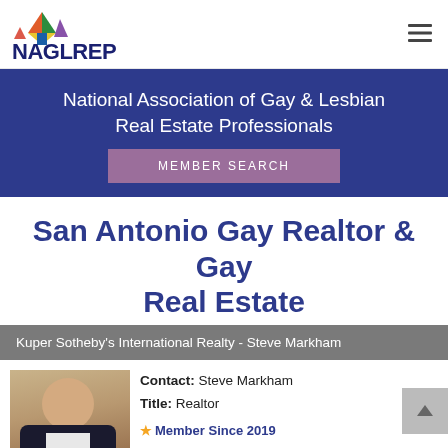NAGLREP
National Association of Gay & Lesbian Real Estate Professionals
MEMBER SEARCH
San Antonio Gay Realtor & Gay Real Estate
Kuper Sotheby's International Realty - Steve Markham
Contact: Steve Markham
Title: Realtor
★ Member Since 2019
Company Address
Kuper Sotheby's International Realty
[Figure (photo): Headshot photo of Steve Markham, a man in a dark suit with a white shirt]